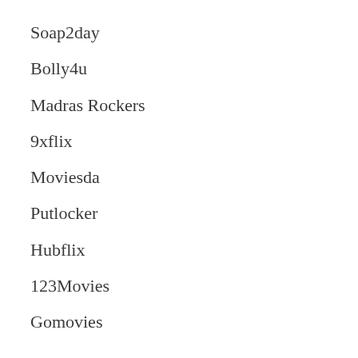Soap2day
Bolly4u
Madras Rockers
9xflix
Moviesda
Putlocker
Hubflix
123Movies
Gomovies